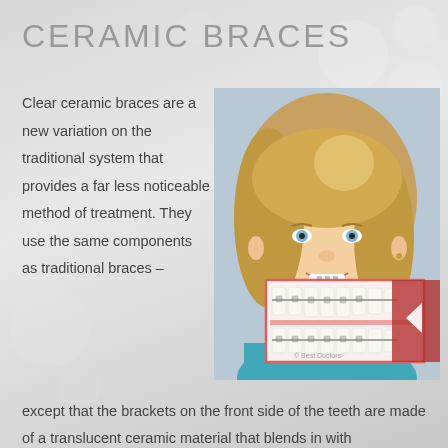CERAMIC BRACES
Clear ceramic braces are a new variation on the traditional system that provides a far less noticeable method of treatment. They use the same components as traditional braces –
[Figure (photo): Photo of a young girl smiling showing ceramic braces on her teeth, with an inset close-up illustration of ceramic braces on teeth from Best Doctors.]
except that the brackets on the front side of the teeth are made of a translucent ceramic material that blends in with